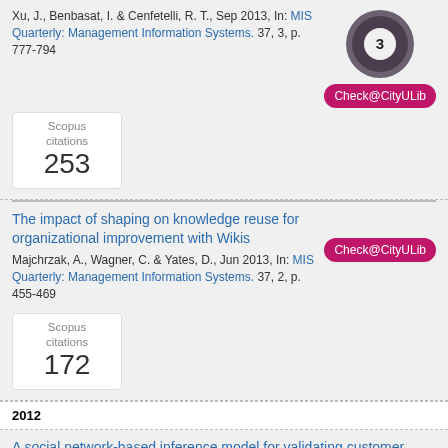Xu, J., Benbasat, I. & Cenfetelli, R. T., Sep 2013, In: MIS Quarterly: Management Information Systems. 37, 3, p. 777-794
Scopus citations 253
[Figure (other): Circular donut/badge shape with number 3 in center]
Check@CityULib
The impact of shaping on knowledge reuse for organizational improvement with Wikis
Majchrzak, A., Wagner, C. & Yates, D., Jun 2013, In: MIS Quarterly: Management Information Systems. 37, 2, p. 455-469
Check@CityULib
Scopus citations 172
2012
A social network-based inference model for validating customer profile data
Park, S., Huh, S., Oh, W. & Han, S. P., Dec 2012, In: MIS Quarterly: Management Information Systems. 36, 4, p. 1217-1237 22 p.
Check@CityULib